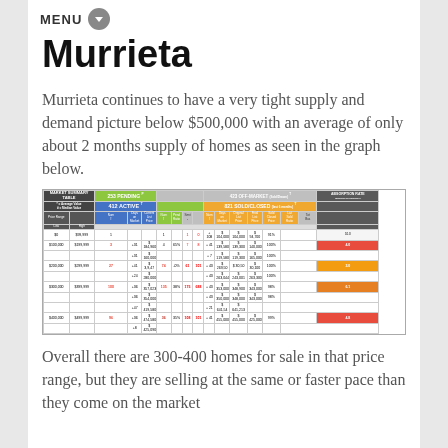MENU
Murrieta
Murrieta continues to have a very tight supply and demand picture below $500,000 with an average of only about 2 months supply of homes as seen in the graph below.
[Figure (table-as-image): Market Summary Table showing 412 Active, 253 Pending, 821 Sold/Closed, 423 Off-Market listings with price range rows from $0 to $499,999 and absorption rate data]
Overall there are 300-400 homes for sale in that price range, but they are selling at the same or faster pace than they come on the market